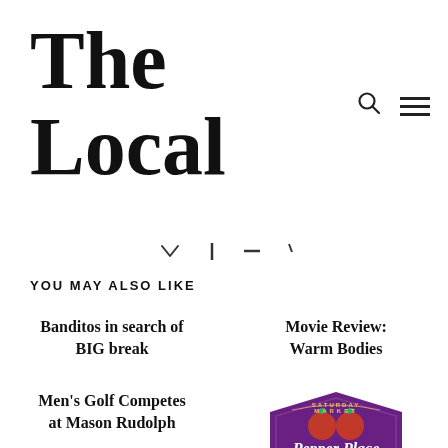The Local
[Figure (other): Search icon (magnifying glass) and hamburger menu icon in top right navigation area]
[Figure (other): Navigation dots/chevron area with partial navigation elements visible]
YOU MAY ALSO LIKE
Banditos in search of BIG break
Movie Review: Warm Bodies
Men's Golf Competes at Mason Rudolph
[Figure (logo): Pepper Place Farmers Market logo - purple shield/badge shape with red tomatoes and cursive Pepper Place text]